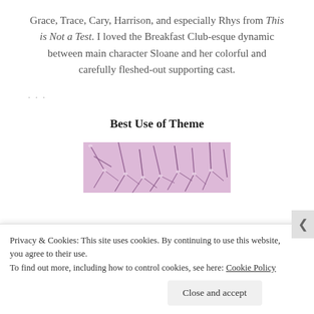Grace, Trace, Cary, Harrison, and especially Rhys from This is Not a Test. I loved the Breakfast Club-esque dynamic between main character Sloane and her colorful and carefully fleshed-out supporting cast.
· · ·
Best Use of Theme
[Figure (photo): A photo of snow-covered tree branches with a pink/purple tint, partially visible.]
Privacy & Cookies: This site uses cookies. By continuing to use this website, you agree to their use. To find out more, including how to control cookies, see here: Cookie Policy
Close and accept